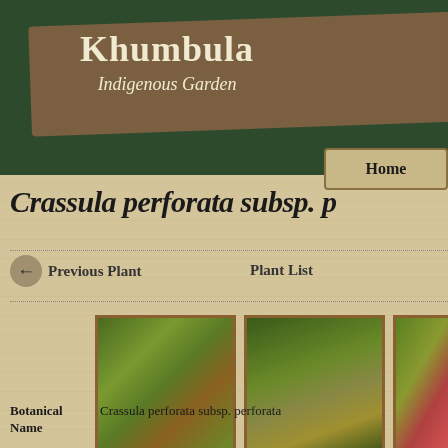Khumbula Indigenous Garden
Crassula perforata subsp. p
Previous Plant   Plant List
[Figure (photo): Three plant photos of Crassula perforata subsp. perforata showing the plant in garden setting, close-up of stems with flowers, and close-up of leaf arrangement.]
Click on an image to enlarge it.
| Botanical Name | Value |
| --- | --- |
| Botanical Name | Crassula perforata subsp. perforata |